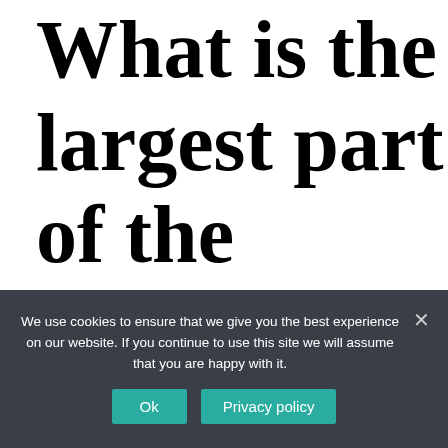What is the largest part of the Georgia
We use cookies to ensure that we give you the best experience on our website. If you continue to use this site we will assume that you are happy with it.
Ok   Privacy policy